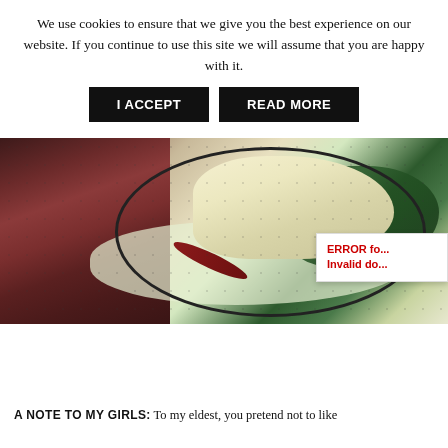We use cookies to ensure that we give you the best experience on our website. If you continue to use this site we will assume that you are happy with it.
I ACCEPT | READ MORE
[Figure (photo): Overhead view of a bowl containing rice, sautéed spinach, and coconut curry sauce with a dried red chili, surrounded by dark autumn leaves on a light surface.]
ERROR fo... Invalid do...
A NOTE TO MY GIRLS: To my eldest, you pretend not to like